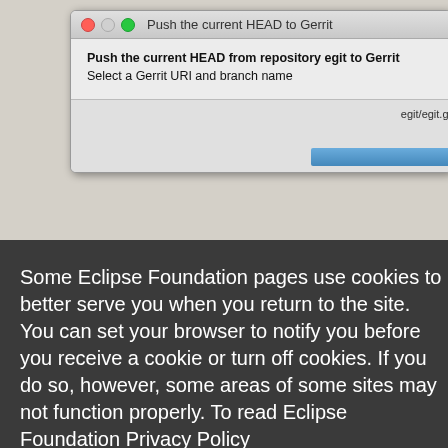[Figure (screenshot): macOS dialog window titled 'Push the current HEAD to Gerrit' with subheadings and input fields, partially covered by an Eclipse Foundation cookie consent overlay with Decline and Allow cookies buttons]
Some Eclipse Foundation pages use cookies to better serve you when you return to the site. You can set your browser to notify you before you receive a cookie or turn off cookies. If you do so, however, some areas of some sites may not function properly. To read Eclipse Foundation Privacy Policy click here.
Decline
Allow cookies
Staging View and